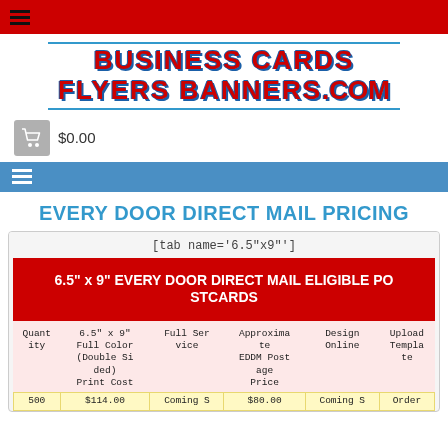[Figure (logo): Business Cards Flyers Banners .com logo with red text, blue outline, and blue underlines]
$0.00
EVERY DOOR DIRECT MAIL PRICING
[tab name='6.5"x9"']
| Quantity | 6.5" x 9" Full Color (Double Sided) Print Cost | Full Service | Approximate EDDM Postage Price | Design Online | Upload Template |
| --- | --- | --- | --- | --- | --- |
| 500 | $114.00 | Coming S |  | $80.00 | Coming S | Order |